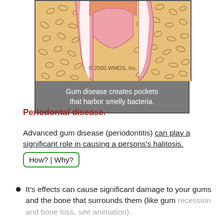[Figure (illustration): Cross-sectional illustration of teeth and gum tissue showing periodontal pockets. Sandy/beige gum tissue with seed-shaped cells. Pink tooth outlines showing two teeth with a gap between them forming a pocket. Copyright 2000 WMDS, Inc.]
Gum disease creates pockets that harbor smelly bacteria.
Periodontal disease.
Advanced gum disease (periodontitis) can play a significant role in causing a persons's halitosis. How? | Why?
It's effects can cause significant damage to your gums and the bone that surrounds them (like gum recession and bone loss, see animation).